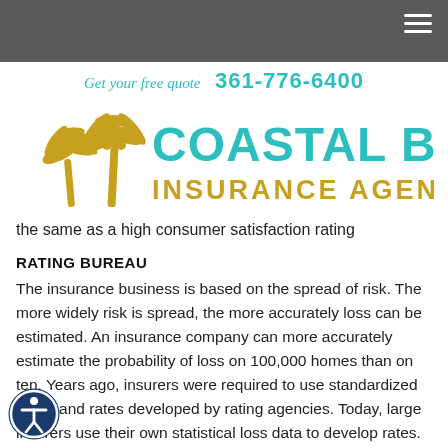[Figure (logo): Coastal Bend Insurance Agency logo with palm trees in gold/yellow and text in teal/cyan]
Get your free quote  361-776-6400
the same as a high consumer satisfaction rating
RATING BUREAU
The insurance business is based on the spread of risk. The more widely risk is spread, the more accurately loss can be estimated. An insurance company can more accurately estimate the probability of loss on 100,000 homes than on ten. Years ago, insurers were required to use standardized forms and rates developed by rating agencies. Today, large insurers use their own statistical loss data to develop rates.
[Figure (illustration): Accessibility icon — circular badge with person symbol in navy blue]